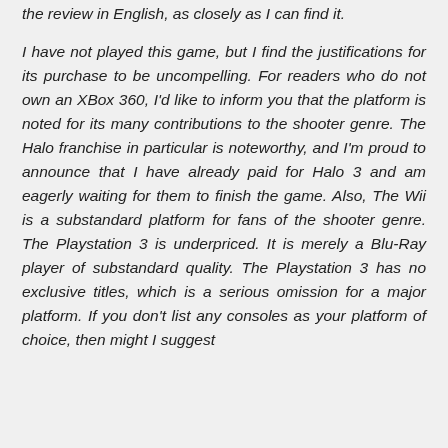the review in English, as closely as I can find it.
I have not played this game, but I find the justifications for its purchase to be uncompelling. For readers who do not own an XBox 360, I'd like to inform you that the platform is noted for its many contributions to the shooter genre. The Halo franchise in particular is noteworthy, and I'm proud to announce that I have already paid for Halo 3 and am eagerly waiting for them to finish the game. Also, The Wii is a substandard platform for fans of the shooter genre. The Playstation 3 is underpriced. It is merely a Blu-Ray player of substandard quality. The Playstation 3 has no exclusive titles, which is a serious omission for a major platform. If you don't list any consoles as your platform of choice, then might I suggest